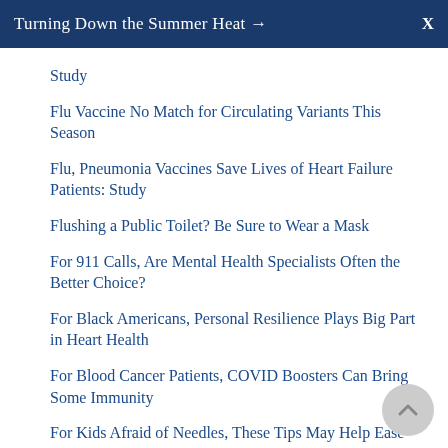Turning Down the Summer Heat → X
Study
Flu Vaccine No Match for Circulating Variants This Season
Flu, Pneumonia Vaccines Save Lives of Heart Failure Patients: Study
Flushing a Public Toilet? Be Sure to Wear a Mask
For 911 Calls, Are Mental Health Specialists Often the Better Choice?
For Black Americans, Personal Resilience Plays Big Part in Heart Health
For Blood Cancer Patients, COVID Boosters Can Bring Some Immunity
For Kids Afraid of Needles, These Tips May Help Ease COVID Shots